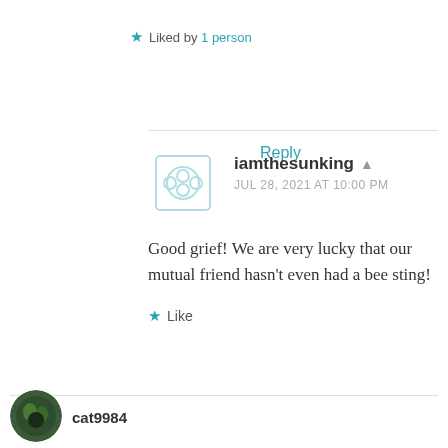★ Liked by 1 person
Reply
iamthesunking
JUL 28, 2021 AT 10:00 PM
Good grief! We are very lucky that our mutual friend hasn't even had a bee sting!
★ Like
cat9984